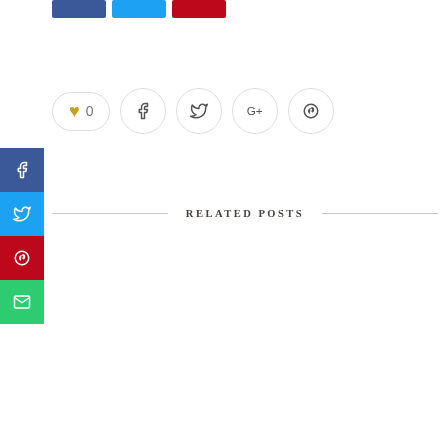[Figure (infographic): Three partial social share button bars at top (Facebook blue, Twitter cyan, Pinterest red), cut off at page top edge]
[Figure (infographic): Inline social sharing buttons: heart with count 0, Facebook circle, Twitter circle, Google+ circle, Pinterest circle]
[Figure (infographic): Left sidebar vertical social share buttons: Facebook (dark blue), Twitter (light blue), Pinterest (red), Email (green)]
RELATED POSTS